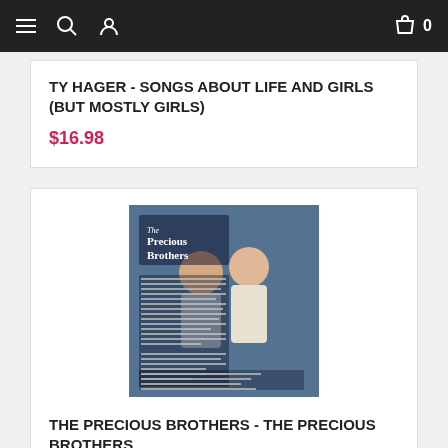Navigation bar with menu, search, profile icons and shopping cart
TY HAGER - SONGS ABOUT LIFE AND GIRLS (BUT MOSTLY GIRLS)
$16.98
[Figure (photo): Album cover for The Precious Brothers showing two young boys standing together against a brick wall with text overlay]
THE PRECIOUS BROTHERS - THE PRECIOUS BROTHERS